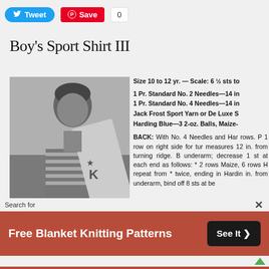[Figure (screenshot): Twitter Tweet button (blue) and Pinterest Save button (red) with count 0]
Boy's Sport Shirt III
[Figure (photo): Black and white photo of a boy wearing a striped sport shirt, holding what appears to be a flag or banner, looking to the side]
Size 10 to 12 yr. — Scale: 6 ½ sts to
1 Pr. Standard No. 2 Needles—14 in
1 Pr. Standard No. 4 Needles—14 in
Jack Frost Sport Yarn or De Luxe S
Harding Blue—3 2-oz. Balls, Maize-
BACK: With No. 4 Needles and Har rows. P 1 row on right side for tur measures 12 in. from turning ridge. B underarm; decrease 1 st at each end as follows: * 2 rows Maize, 6 rows H repeat from * twice, ending in Hardin in. from underarm, bind off 8 sts at be
[Figure (screenshot): Advertisement bar: Search for Free Blanket Knitting Patterns with See It > button on dark background, red background]
Search for
Free Blanket Knitting Patterns
See It >